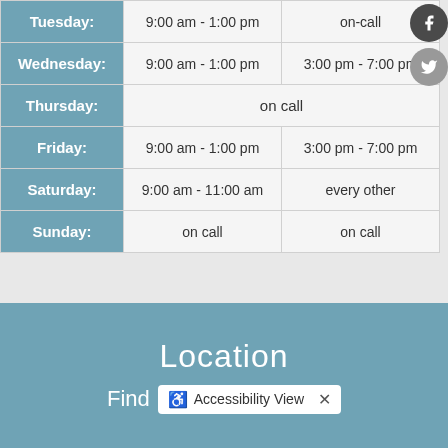| Day | Morning/Afternoon 1 | Afternoon 2 |
| --- | --- | --- |
| Tuesday: | 9:00 am - 1:00 pm | on-call |
| Wednesday: | 9:00 am - 1:00 pm | 3:00 pm - 7:00 pm |
| Thursday: | on call |  |
| Friday: | 9:00 am - 1:00 pm | 3:00 pm - 7:00 pm |
| Saturday: | 9:00 am - 11:00 am | every other |
| Sunday: | on call | on call |
Location
Find   Accessibility View ×